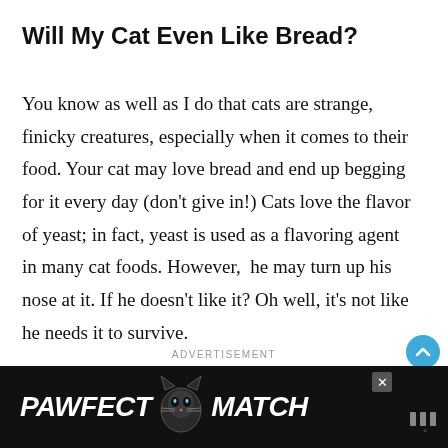Will My Cat Even Like Bread?
You know as well as I do that cats are strange, finicky creatures, especially when it comes to their food. Your cat may love bread and end up begging for it every day (don’t give in!) Cats love the flavor of yeast; in fact, yeast is used as a flavoring agent in many cat foods. However,  he may turn up his nose at it. If he doesn’t like it? Oh well, it’s not like he needs it to survive.
ADVERTISEMENT
[Figure (screenshot): Advertisement banner showing 'PAWFECT MATCH' text with a cat face logo on a dark background]